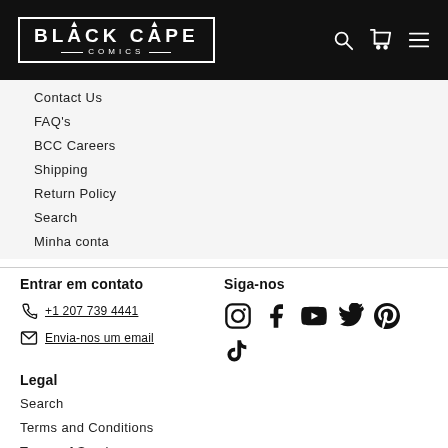BLACK CAPE COMICS
Contact Us
FAQ's
BCC Careers
Shipping
Return Policy
Search
Minha conta
Entrar em contato
+1 207 739 4441
Envia-nos um email
Siga-nos
[Figure (illustration): Social media icons: Instagram, Facebook, YouTube, Twitter, Pinterest, TikTok]
Legal
Search
Terms and Conditions
Terms of Service